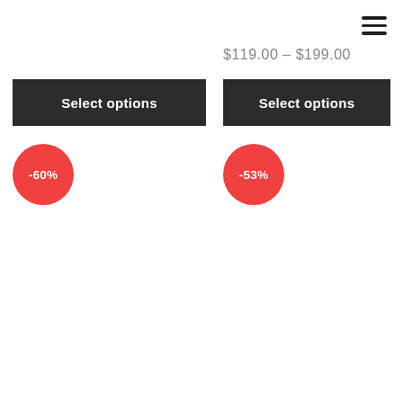[Figure (other): Hamburger menu icon (three horizontal lines) in top-right corner]
$119.00 – $199.00
Select options
Select options
-60%
-53%